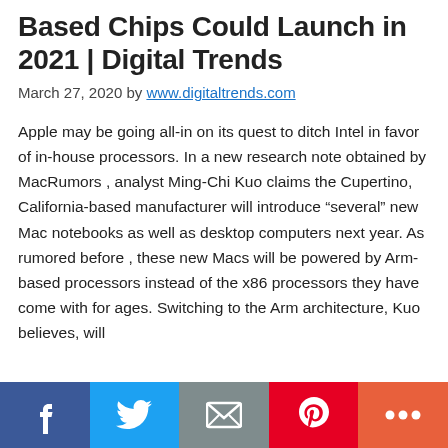Based Chips Could Launch in 2021 | Digital Trends
March 27, 2020 by www.digitaltrends.com
Apple may be going all-in on its quest to ditch Intel in favor of in-house processors. In a new research note obtained by MacRumors , analyst Ming-Chi Kuo claims the Cupertino, California-based manufacturer will introduce “several” new Mac notebooks as well as desktop computers next year. As rumored before , these new Macs will be powered by Arm-based processors instead of the x86 processors they have come with for ages. Switching to the Arm architecture, Kuo believes, will
Social share bar: Facebook, Twitter, Email, Pinterest, More